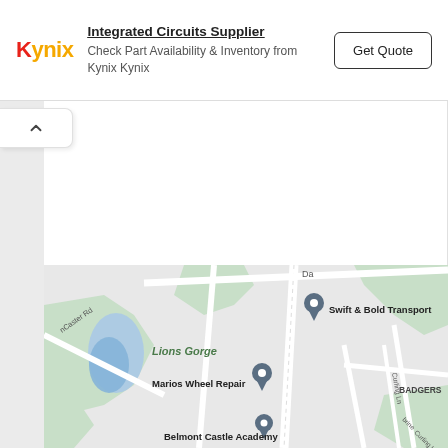[Figure (infographic): Kynix advertisement banner with red/yellow Kynix logo, 'Integrated Circuits Supplier' title, 'Check Part Availability & Inventory from Kynix Kynix' subtitle, and a 'Get Quote' button]
[Figure (map): Google Maps screenshot showing Lions Gorge area with blue water feature, roads, and location pins for Swift & Bold Transport, Marios Wheel Repair, and Belmont Castle Academy. BADGERS label visible on right. Curling Ln road visible. Lancaster Rd on left.]